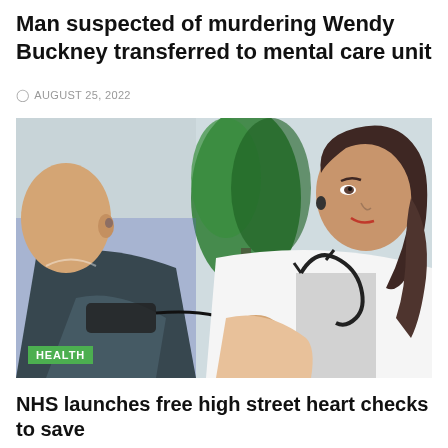Man suspected of murdering Wendy Buckney transferred to mental care unit
AUGUST 25, 2022
[Figure (photo): A female doctor with a stethoscope taking a male patient's blood pressure in a clinical setting, with a green plant visible in the background.]
HEALTH
NHS launches free high street heart checks to save thousands of lives